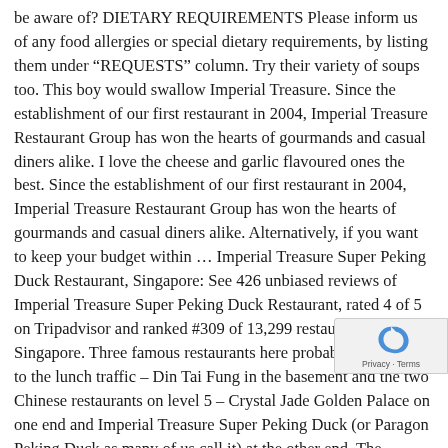be aware of? DIETARY REQUIREMENTS Please inform us of any food allergies or special dietary requirements, by listing them under “REQUESTS” column. Try their variety of soups too. This boy would swallow Imperial Treasure. Since the establishment of our first restaurant in 2004, Imperial Treasure Restaurant Group has won the hearts of gourmands and casual diners alike. I love the cheese and garlic flavoured ones the best. Since the establishment of our first restaurant in 2004, Imperial Treasure Restaurant Group has won the hearts of gourmands and casual diners alike. Alternatively, if you want to keep your budget within … Imperial Treasure Super Peking Duck Restaurant, Singapore: See 426 unbiased reviews of Imperial Treasure Super Peking Duck Restaurant, rated 4 of 5 on Tripadvisor and ranked #309 of 13,299 restaurants in Singapore. Three famous restaurants here probably contribute to the lunch traffic – Din Tai Fung in the basement and the two Chinese restaurants on level 5 – Crystal Jade Golden Palace on one end and Imperial Treasure Super Peking Duck (or Paragon Peking Duck as many of us call it) at the other end. The MICHELIN inspectors’ point of view, information on prices, types of cuisine and opening hours on the MICHELIN Guide’s official website I love imperial treasure super duck. One of the noticeable dish is the Crispy Roast Pork        ($10). and true to the name is in fact super and full of treasures when it comes to peki... Prices on the menu look reasonable, but the food portions to be small. you can only order a whole duck, so go with at least
[Figure (other): reCAPTCHA badge with privacy and terms text in bottom-right corner]